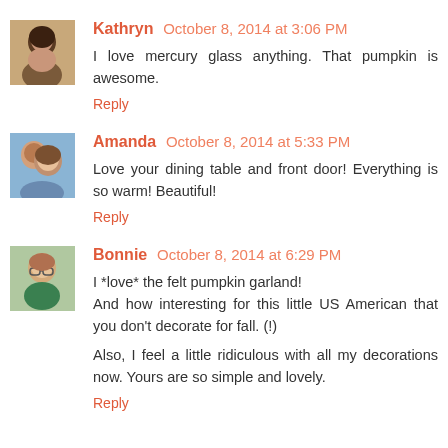[Figure (photo): Avatar photo of Kathryn, a woman with dark hair]
Kathryn October 8, 2014 at 3:06 PM
I love mercury glass anything. That pumpkin is awesome.
Reply
[Figure (photo): Avatar photo of Amanda, a woman with curly hair smiling]
Amanda October 8, 2014 at 5:33 PM
Love your dining table and front door! Everything is so warm! Beautiful!
Reply
[Figure (photo): Avatar photo of Bonnie, a woman with glasses]
Bonnie October 8, 2014 at 6:29 PM
I *love* the felt pumpkin garland!
And how interesting for this little US American that you don't decorate for fall. (!)
Also, I feel a little ridiculous with all my decorations now. Yours are so simple and lovely.
Reply